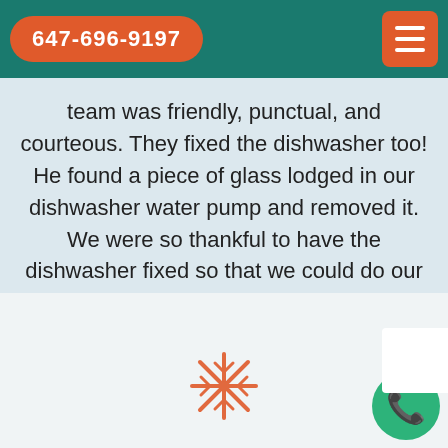647-696-9197
team was friendly, punctual, and courteous. They fixed the dishwasher too! He found a piece of glass lodged in our dishwasher water pump and removed it. We were so thankful to have the dishwasher fixed so that we could do our dishes. Thanks again.
[Figure (other): 4.5 star rating — five stars shown, four filled gold and one half gold/half outline]
Smith Jordan
[Figure (illustration): Snowflake icon in orange outline style at bottom center of page]
[Figure (other): Green phone call button circle at bottom right corner]